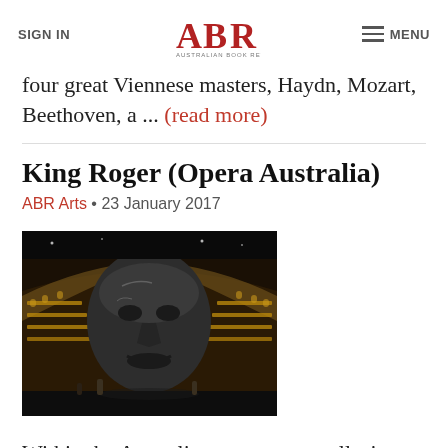SIGN IN | ABR Australian Book Review | MENU
four great Viennese masters, Haydn, Mozart, Beethoven, a ... (read more)
King Roger (Opera Australia)
ABR Arts • 23 January 2017
[Figure (photo): Stage set of King Roger opera showing a large dark sculptural face/mask on stage with performers and ornate curved theatre backdrop with golden balconies]
Within the Australian context, any allusion to